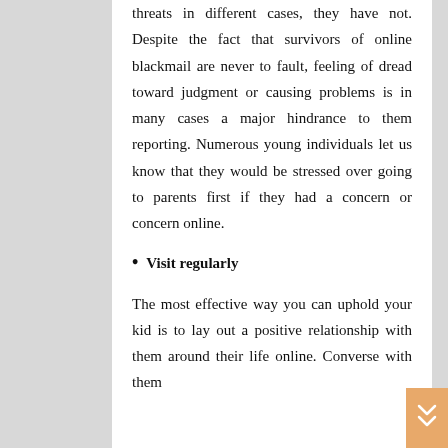threats in different cases, they have not. Despite the fact that survivors of online blackmail are never to fault, feeling of dread toward judgment or causing problems is in many cases a major hindrance to them reporting. Numerous young individuals let us know that they would be stressed over going to parents first if they had a concern or concern online.
Visit regularly
The most effective way you can uphold your kid is to lay out a positive relationship with them around their life online. Converse with them